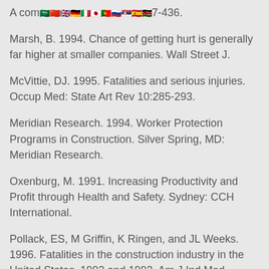A com[flags]7-436.
Marsh, B. 1994. Chance of getting hurt is generally far higher at smaller companies. Wall Street J.
McVittie, DJ. 1995. Fatalities and serious injuries. Occup Med: State Art Rev 10:285-293.
Meridian Research. 1994. Worker Protection Programs in Construction. Silver Spring, MD: Meridian Research.
Oxenburg, M. 1991. Increasing Productivity and Profit through Health and Safety. Sydney: CCH International.
Pollack, ES, M Griffin, K Ringen, and JL Weeks. 1996. Fatalities in the construction industry in the United States, 1992 and 1993. Am J Ind Med 30:325-330.
Powers, MB. 1994. Cost fever breaks. Engineering News-Record 233:40-41.